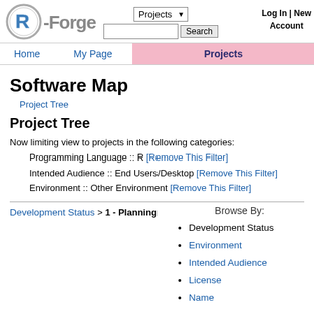[Figure (logo): R-Forge logo with circular R icon and Forge text]
Projects dropdown | Search box | Log In | New Account
Home | My Page | Projects
Software Map
Project Tree
Project Tree
Now limiting view to projects in the following categories:
    Programming Language :: R [Remove This Filter]
    Intended Audience :: End Users/Desktop [Remove This Filter]
    Environment :: Other Environment [Remove This Filter]
Browse By:
Development Status > 1 - Planning
Development Status
Environment
Intended Audience
License
Name